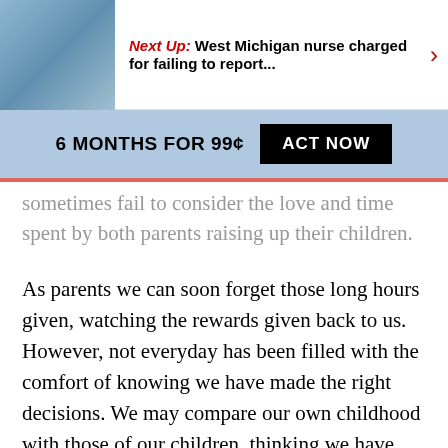Next Up: West Michigan nurse charged for failing to report...
6 MONTHS FOR 99¢  ACT NOW
sometimes fail to consider the love and time spent by both parents raising up their children.
As parents we can soon forget those long hours given, watching the rewards given back to us. However, not everyday has been filled with the comfort of knowing we have made the right decisions. We may compare our own childhood with those of our children, thinking we have done a better job. But have we?